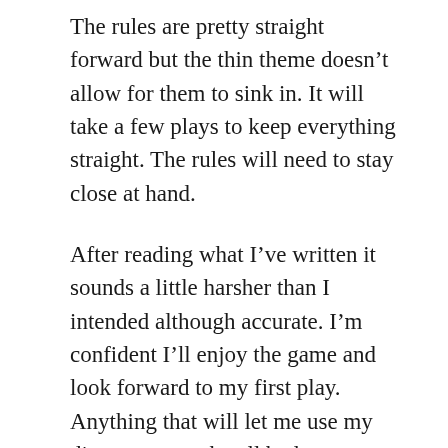The rules are pretty straight forward but the thin theme doesn't allow for them to sink in. It will take a few plays to keep everything straight. The rules will need to stay close at hand.
After reading what I've written it sounds a little harsher than I intended although accurate. I'm confident I'll enjoy the game and look forward to my first play. Anything that will let me use my dice tower can be all bad.
October 13, 2008 / All Posts, Board Games / Leave a comment
Geek of the Week – #163